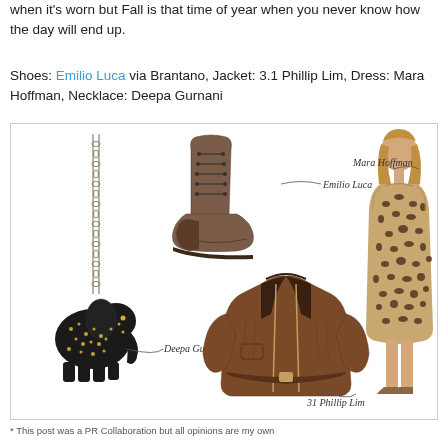when it's worn but Fall is that time of year when you never know how the day will end up.
Shoes: Emilio Luca via Brantano, Jacket: 3.1 Phillip Lim, Dress: Mara Hoffman, Necklace: Deepa Gurnani
[Figure (photo): Fashion collage showing: Emilio Luca brown lace-up ankle boots, Mara Hoffman leopard print dress worn by a model, 3.1 Phillip Lim brown leather moto jacket, and Deepa Gurnani elephant pendant necklace with rhinestones. Each item is labeled with handwritten-style text annotations.]
* This post was a PR Collaboration but all opinions are my own